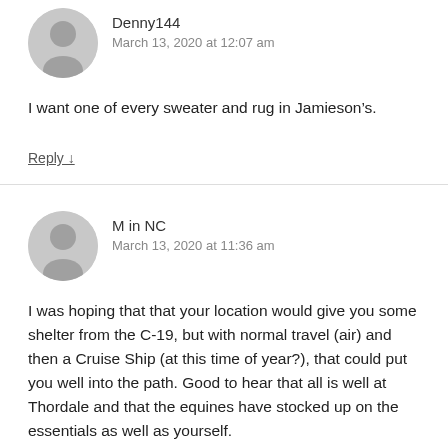Denny144
March 13, 2020 at 12:07 am
I want one of every sweater and rug in Jamieson’s.
Reply ↓
M in NC
March 13, 2020 at 11:36 am
I was hoping that that your location would give you some shelter from the C-19, but with normal travel (air) and then a Cruise Ship (at this time of year?), that could put you well into the path. Good to hear that all is well at Thordale and that the equines have stocked up on the essentials as well as yourself.